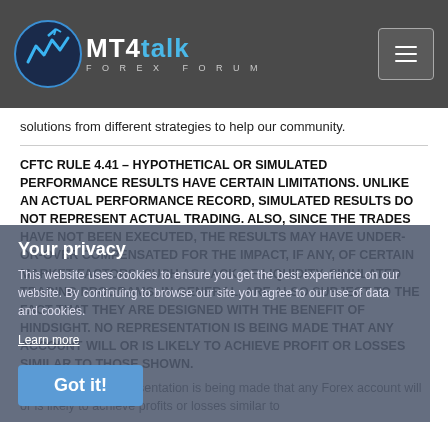MT4talk Forex Forum
solutions from different strategies to help our community.
CFTC RULE 4.41 – HYPOTHETICAL OR SIMULATED PERFORMANCE RESULTS HAVE CERTAIN LIMITATIONS. UNLIKE AN ACTUAL PERFORMANCE RECORD, SIMULATED RESULTS DO NOT REPRESENT ACTUAL TRADING. ALSO, SINCE THE TRADES HAVE NOT BEEN EXECUTED, THE RESULTS MAY HAVE UNDER-OR-OVER COMPENSATED FOR THE IMPACT, IF ANY, OF CERTAIN MARKET FACTORS, SUCH AS LACK OF LIQUIDITY. SIMULATED TRADING PROGRAMS, IN GENERAL, ARE ALSO SUBJECT TO THE FACT THAT THEY ARE DESIGNED WITH THE BENEFIT OF HINDSIGHT. NO REPRESENTATION IS BEING MADE THAT ANY ACCOUNT WILL OR IS LIKELY TO ACHIEVE PROFIT OR LOSSES SIMILAR TO THOSE SHOWN.
Your privacy
This website uses cookies to ensure you get the best experience on our website. By continuing to browse our site you agree to our use of data and cookies.
Learn more
Got it!
Disclaimer - No representation is being made that any Forex account will or is likely to achieve profits or losses similar to